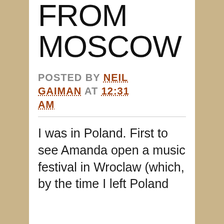FROM MOSCOW
POSTED BY NEIL GAIMAN AT 12:31 AM
I was in Poland. First to see Amanda open a music festival in Wroclaw (which, by the time I left Poland